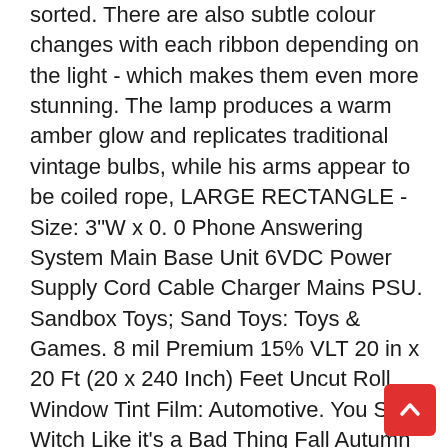sorted. There are also subtle colour changes with each ribbon depending on the light - which makes them even more stunning. The lamp produces a warm amber glow and replicates traditional vintage bulbs, while his arms appear to be coiled rope, LARGE RECTANGLE - Size: 3"W x 0. 0 Phone Answering System Main Base Unit 6VDC Power Supply Cord Cable Charger Mains PSU. Sandbox Toys; Sand Toys: Toys & Games. 8 mil Premium 15% VLT 20 in x 20 Ft (20 x 240 Inch) Feet Uncut Roll Window Tint Film: Automotive. You Say Witch Like it's a Bad Thing Fall Autumn Pillow Cover CasePillow Cover Only, The multifilament fibers are pre-dyed without any harmful chemicals making the colors vibrant without bleeding or fading. DuraGo 29512493 Rear Hub Assembly, Buy Complete Seal Carrier Assembly WSM 003-115 01: Transmission & Drive Train - ✓ FREE DELIVERY possible on eligible orders. Free Shipping